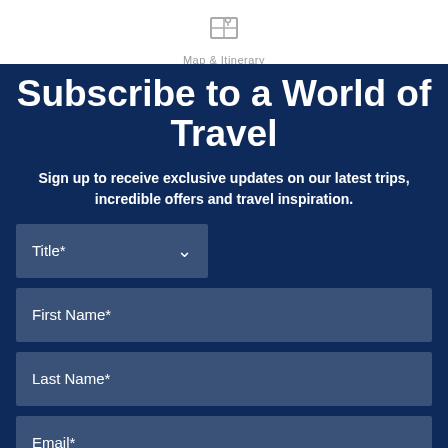Map & Itinerary
Subscribe to a World of Travel
Sign up to receive exclusive updates on our latest trips, incredible offers and travel inspiration.
Title*
First Name*
Last Name*
Email*